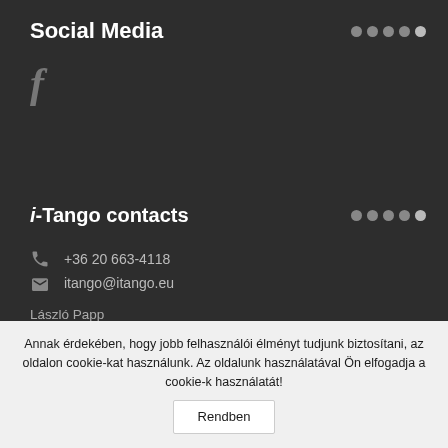Social Media
[Figure (logo): Facebook 'f' logo icon in dark gray]
i-Tango contacts
+36 20 663-4118
itango@itango.eu
László Papp
+36 20 580 3000
laszlo.papp@gartner.com
Rita Gémesi
Annak érdekében, hogy jobb felhasználói élményt tudjunk biztosítani, az oldalon cookie-kat használunk. Az oldalunk használatával Ön elfogadja a cookie-k használatát!
Rendben